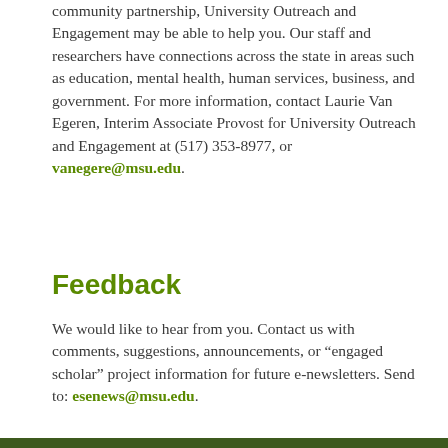community partnership, University Outreach and Engagement may be able to help you. Our staff and researchers have connections across the state in areas such as education, mental health, human services, business, and government. For more information, contact Laurie Van Egeren, Interim Associate Provost for University Outreach and Engagement at (517) 353-8977, or vanegere@msu.edu.
Feedback
We would like to hear from you. Contact us with comments, suggestions, announcements, or "engaged scholar" project information for future e-newsletters. Send to: esenews@msu.edu.